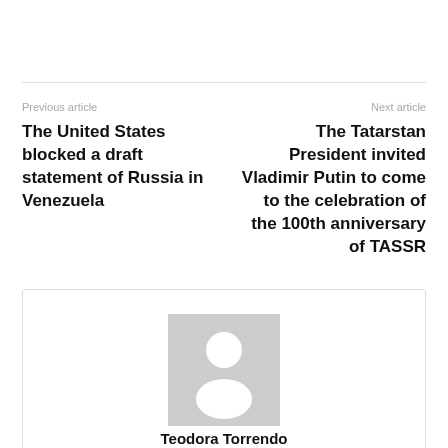Previous article
Next article
The United States blocked a draft statement of Russia in Venezuela
The Tatarstan President invited Vladimir Putin to come to the celebration of the 100th anniversary of TASSR
[Figure (illustration): Generic user avatar placeholder — grey square with white silhouette of a person]
Teodora Torrendo